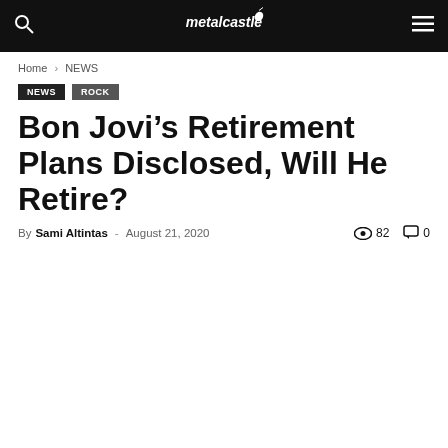metalcastle [logo header with search and menu icons]
Home › NEWS
NEWS
ROCK
Bon Jovi's Retirement Plans Disclosed, Will He Retire?
By Sami Altintas - August 21, 2020  👁 82  💬 0